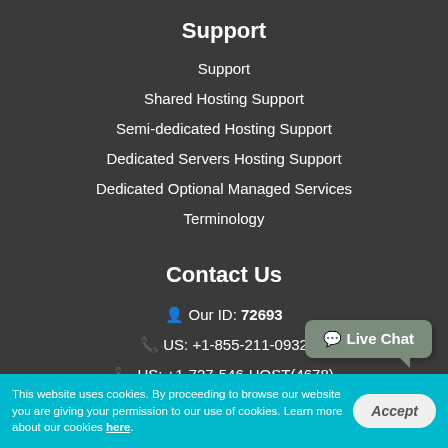Support
Support
Shared Hosting Support
Semi-dedicated Hosting Support
Dedicated Servers Hosting Support
Dedicated Optional Managed Services
Terminology
Contact Us
Our ID: 72693
US: +1-855-211-0932
US: +1-727-546-HOST(4678)
UK: +44-20-3695-1294
AU: +61-2-8417-2372
Live Chat
This website uses cookies. By proceeding to browse our website you are giving your permission to our use of cookies. Learn more about our cookies here.